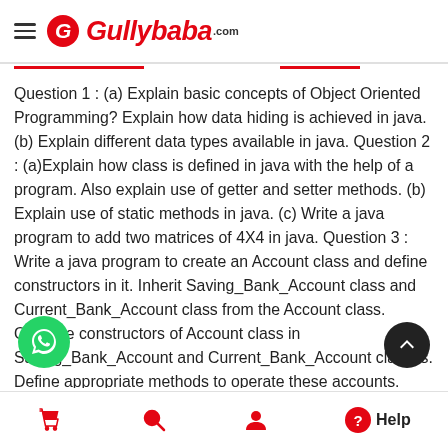Gullybaba.com
Question 1 : (a) Explain basic concepts of Object Oriented Programming? Explain how data hiding is achieved in java. (b) Explain different data types available in java. Question 2 : (a)Explain how class is defined in java with the help of a program. Also explain use of getter and setter methods. (b) Explain use of static methods in java. (c) Write a java program to add two matrices of 4X4 in java. Question 3 : Write a java program to create an Account class and define constructors in it. Inherit Saving_Bank_Account class and Current_Bank_Account class from the Account class. Override constructors of Account class in Saving_Bank_Account and Current_Bank_Account classes. Define appropriate methods to operate these accounts. Make necessary assumptions. Give proper comment in your program to increase redability. Question 4 : (a) Explain uses of final and super keywords in java with the help of examples. (b) What is a package in Java
Cart | Search | User | Help